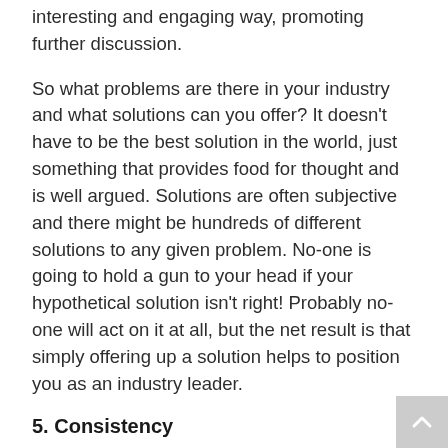interesting and engaging way, promoting further discussion.
So what problems are there in your industry and what solutions can you offer? It doesn't have to be the best solution in the world, just something that provides food for thought and is well argued. Solutions are often subjective and there might be hundreds of different solutions to any given problem. No-one is going to hold a gun to your head if your hypothetical solution isn't right! Probably no-one will act on it at all, but the net result is that simply offering up a solution helps to position you as an industry leader.
5. Consistency
If only thought-leadership were as simple as publishing a single killer blog post and suddenly becoming 'industry famous' with a load of